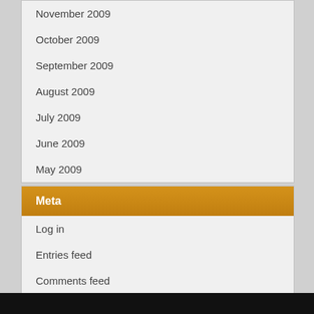November 2009
October 2009
September 2009
August 2009
July 2009
June 2009
May 2009
Meta
Log in
Entries feed
Comments feed
WordPress.org